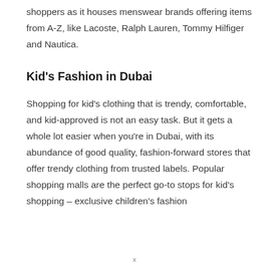shoppers as it houses menswear brands offering items from A-Z, like Lacoste, Ralph Lauren, Tommy Hilfiger and Nautica.
Kid's Fashion in Dubai
Shopping for kid's clothing that is trendy, comfortable, and kid-approved is not an easy task. But it gets a whole lot easier when you're in Dubai, with its abundance of good quality, fashion-forward stores that offer trendy clothing from trusted labels. Popular shopping malls are the perfect go-to stops for kid's shopping – exclusive children's fashion